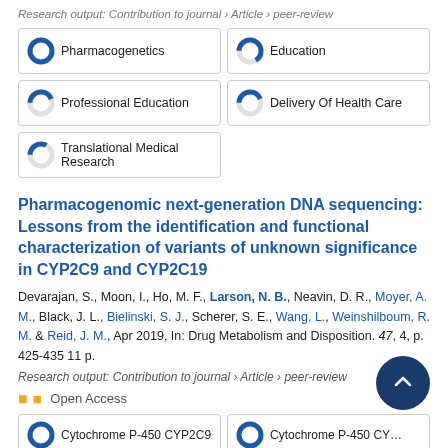Research output: Contribution to journal › Article › peer-review
[Figure (infographic): Five keyword badges with donut/pie fill indicators: Pharmacogenetics (100%), Education (66%), Professional Education (44%), Delivery Of Health Care (44%), Translational Medical Research (33%)]
Pharmacogenomic next-generation DNA sequencing: Lessons from the identification and functional characterization of variants of unknown significance in CYP2C9 and CYP2C19
Devarajan, S., Moon, I., Ho, M. F., Larson, N. B., Neavin, D. R., Moyer, A. M., Black, J. L., Bielinski, S. J., Scherer, S. E., Wang, L., Weinshilboum, R. M. & Reid, J. M., Apr 2019, In: Drug Metabolism and Disposition. 47, 4, p. 425-435 11 p.
Research output: Contribution to journal › Article › peer-review
Open Access
[Figure (infographic): Four keyword badges with donut/pie fill indicators: Cytochrome P-450 CYP2C9 (100%), Cytochrome P-450 CYP... (100%), DNA Sequencing (partial), Pharmacogenetics (partial)]